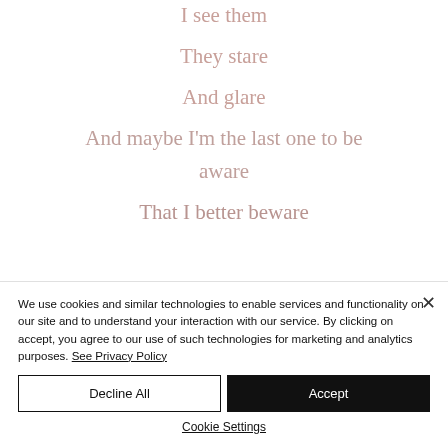I see them
They stare
And glare
And maybe I'm the last one to be
aware
That I better beware
We use cookies and similar technologies to enable services and functionality on our site and to understand your interaction with our service. By clicking on accept, you agree to our use of such technologies for marketing and analytics purposes. See Privacy Policy
Decline All
Accept
Cookie Settings